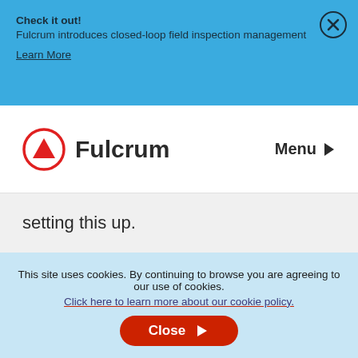Check it out!
Fulcrum introduces closed-loop field inspection management
Learn More
[Figure (logo): Fulcrum logo with red circle and triangle icon, and 'Fulcrum' wordmark in dark text]
Menu ▶
setting this up.
This site uses cookies. By continuing to browse you are agreeing to our use of cookies.
Click here to learn more about our cookie policy.
Close ▶